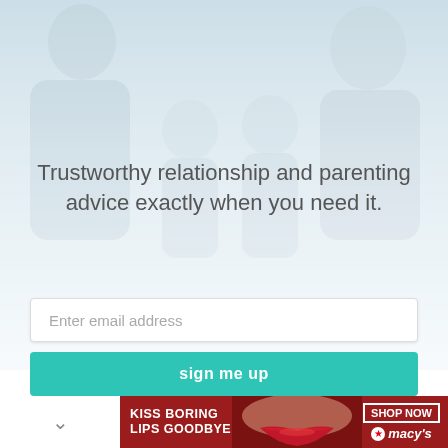[Figure (photo): Family photo with parents and two young daughters smiling, soft light background, used as hero image for a parenting/relationship newsletter signup]
Trustworthy relationship and parenting advice exactly when you need it.
Enter email address
sign me up
[Figure (infographic): Macy's advertisement banner: 'KISS BORING LIPS GOODBYE' with close-up of red lips, SHOP NOW button, and Macy's star logo]